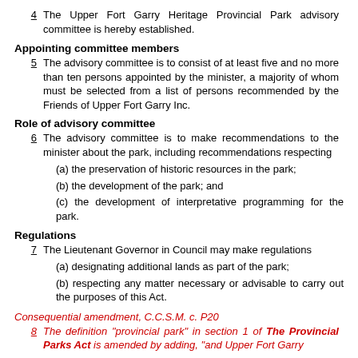4   The Upper Fort Garry Heritage Provincial Park advisory committee is hereby established.
Appointing committee members
5   The advisory committee is to consist of at least five and no more than ten persons appointed by the minister, a majority of whom must be selected from a list of persons recommended by the Friends of Upper Fort Garry Inc.
Role of advisory committee
6   The advisory committee is to make recommendations to the minister about the park, including recommendations respecting
(a) the preservation of historic resources in the park;
(b) the development of the park; and
(c) the development of interpretative programming for the park.
Regulations
7   The Lieutenant Governor in Council may make regulations
(a) designating additional lands as part of the park;
(b) respecting any matter necessary or advisable to carry out the purposes of this Act.
Consequential amendment, C.C.S.M. c. P20
8   The definition "provincial park" in section 1 of The Provincial Parks Act is amended by adding, "and Upper Fort Garry